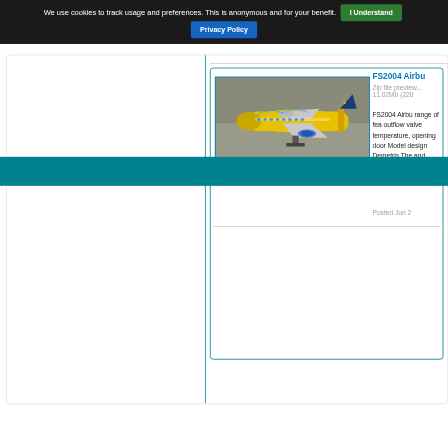We use cookies to track usage and preferences. This is anonymous and for your benefit.  I Understand  Privacy Policy
[Figure (photo): Photo of a yellow and blue Airbus aircraft with decorative livery parked on airport tarmac]
FS2004 Airbu
Zip file preview... 11.02Mb (220
FS2004 Airbu range of fea outflow valve temperature, opening door Model design Demetris The and Thomas h
Posted Jun 2